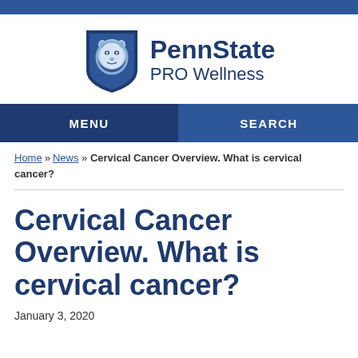[Figure (logo): Penn State PRO Wellness logo with lion shield and text]
MENU   SEARCH
Home » News » Cervical Cancer Overview. What is cervical cancer?
Cervical Cancer Overview. What is cervical cancer?
January 3, 2020